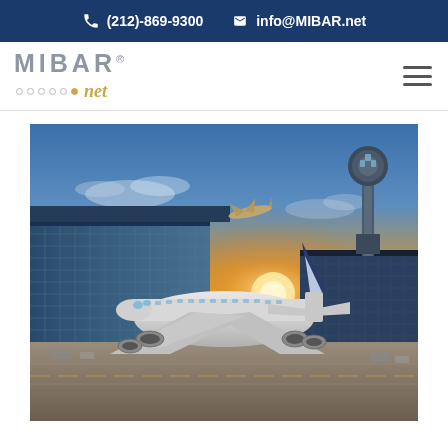(212)-869-9300   info@MIBAR.net
MIBAR® net
[Figure (photo): Airport scene with a large commercial airplane parked at terminal gate in the foreground, another airplane taking off in the background, an air traffic control tower on the right, terminal buildings with glass facade on the left, set against a dramatic sunset sky with orange and blue hues.]